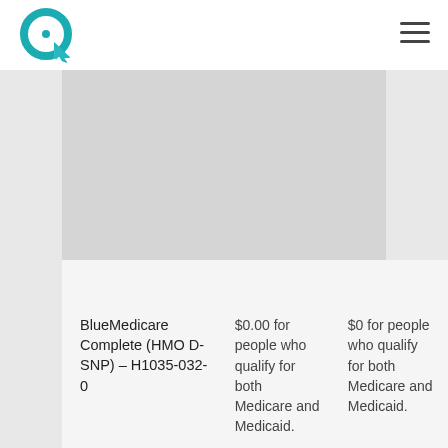[Figure (logo): Teal circular logo with arrow cursor icon]
[Figure (other): Hamburger menu icon (three horizontal lines)]
[Figure (other): Gray placeholder content area]
| BlueMedicare Complete (HMO D-SNP) – H1035-032-0 | $0.00 for people who qualify for both Medicare and Medicaid. | $0 for people who qualify for both Medicare and Medicaid. |